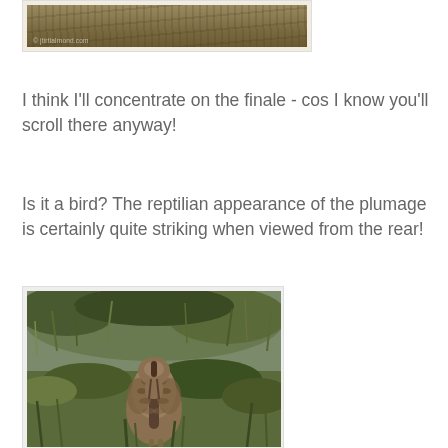[Figure (photo): Partial top of a bird photograph in a grassy moorland setting, cropped at top of page]
I think I'll concentrate on the finale - cos I know you'll scroll there anyway!
Is it a bird? The reptilian appearance of the plumage is certainly quite striking when viewed from the rear!
[Figure (photo): A bird (bittern) photographed from behind in grassy moorland, showing reptilian-looking plumage pattern, standing in grass]